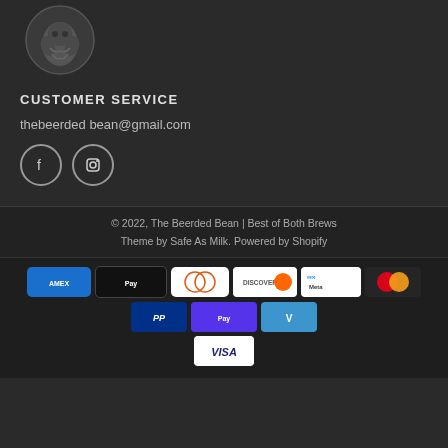[Figure (logo): The Beerded Bean logo - circular emblem with bearded face/hop design in gray on dark background]
CUSTOMER SERVICE
thebeerded bean@gmail.com
[Figure (illustration): Facebook and Instagram social media icons in circles with gray outlines]
© 2022, The Beerded Bean | Best of Both Brews
Theme by Safe As Milk. Powered by Shopify
[Figure (infographic): Payment method badges: American Express, Apple Pay, Diners Club, Discover, Meta Pay, Mastercard, PayPal, Shop Pay, Venmo, Visa]